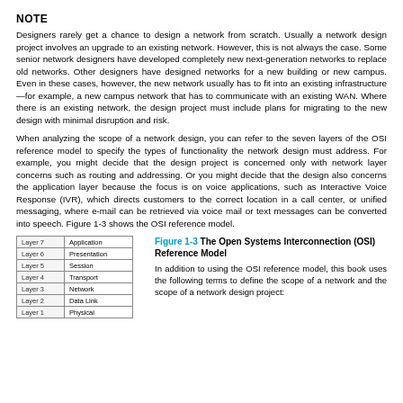NOTE
Designers rarely get a chance to design a network from scratch. Usually a network design project involves an upgrade to an existing network. However, this is not always the case. Some senior network designers have developed completely new next-generation networks to replace old networks. Other designers have designed networks for a new building or new campus. Even in these cases, however, the new network usually has to fit into an existing infrastructure—for example, a new campus network that has to communicate with an existing WAN. Where there is an existing network, the design project must include plans for migrating to the new design with minimal disruption and risk.
When analyzing the scope of a network design, you can refer to the seven layers of the OSI reference model to specify the types of functionality the network design must address. For example, you might decide that the design project is concerned only with network layer concerns such as routing and addressing. Or you might decide that the design also concerns the application layer because the focus is on voice applications, such as Interactive Voice Response (IVR), which directs customers to the correct location in a call center, or unified messaging, where e-mail can be retrieved via voice mail or text messages can be converted into speech. Figure 1-3 shows the OSI reference model.
[Figure (table-as-image): OSI reference model table showing 7 layers: Layer 7 Application, Layer 6 Presentation, Layer 5 Session, Layer 4 Transport, Layer 3 Network, Layer 2 Data Link, Layer 1 Physical]
Figure 1-3 The Open Systems Interconnection (OSI) Reference Model
In addition to using the OSI reference model, this book uses the following terms to define the scope of a network and the scope of a network design project: